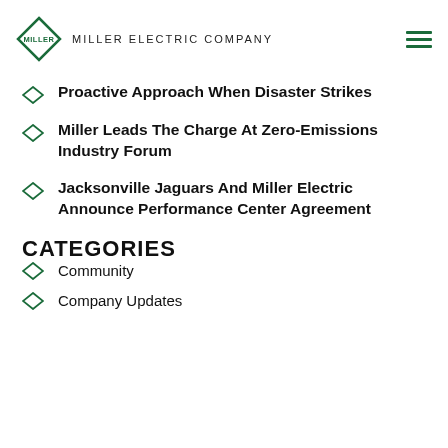Miller Electric Company
Proactive Approach When Disaster Strikes
Miller Leads The Charge At Zero-Emissions Industry Forum
Jacksonville Jaguars And Miller Electric Announce Performance Center Agreement
CATEGORIES
Community
Company Updates